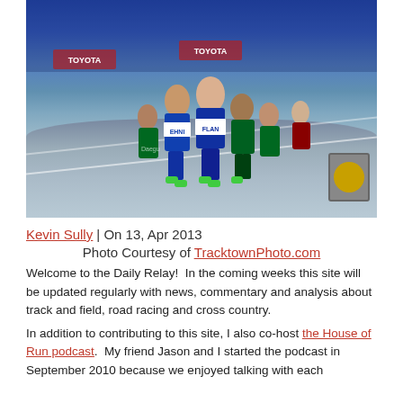[Figure (photo): Women's track race in progress at an athletics competition, multiple runners on a blue track with Toyota sponsor signage visible. Two lead runners in USA uniforms with bibs reading EHNI and FLAN.]
Kevin Sully | On 13, Apr 2013
Photo Courtesy of TracktownPhoto.com
Welcome to the Daily Relay!  In the coming weeks this site will be updated regularly with news, commentary and analysis about track and field, road racing and cross country.
In addition to contributing to this site, I also co-host the House of Run podcast.  My friend Jason and I started the podcast in September 2010 because we enjoyed talking with each